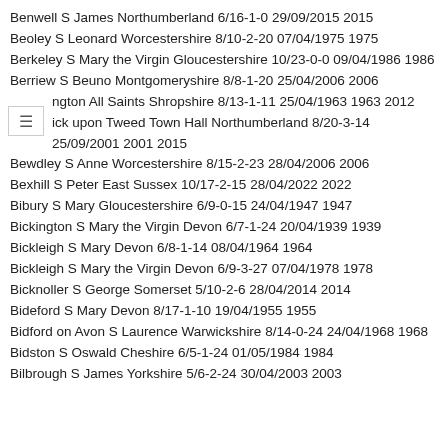Benwell S James Northumberland 6/16-1-0 29/09/2015 2015
Beoley S Leonard Worcestershire 8/10-2-20 07/04/1975 1975
Berkeley S Mary the Virgin Gloucestershire 10/23-0-0 09/04/1986 1986
Berriew S Beuno Montgomeryshire 8/8-1-20 25/04/2006 2006
ngton All Saints Shropshire 8/13-1-11 25/04/1963 1963 2012
ick upon Tweed Town Hall Northumberland 8/20-3-14 25/09/2001 2001 2015
Bewdley S Anne Worcestershire 8/15-2-23 28/04/2006 2006
Bexhill S Peter East Sussex 10/17-2-15 28/04/2022 2022
Bibury S Mary Gloucestershire 6/9-0-15 24/04/1947 1947
Bickington S Mary the Virgin Devon 6/7-1-24 20/04/1939 1939
Bickleigh S Mary Devon 6/8-1-14 08/04/1964 1964
Bickleigh S Mary the Virgin Devon 6/9-3-27 07/04/1978 1978
Bicknoller S George Somerset 5/10-2-6 28/04/2014 2014
Bideford S Mary Devon 8/17-1-10 19/04/1955 1955
Bidford on Avon S Laurence Warwickshire 8/14-0-24 24/04/1968 1968
Bidston S Oswald Cheshire 6/5-1-24 01/05/1984 1984
Bilbrough S James Yorkshire 5/6-2-24 30/04/2003 2003